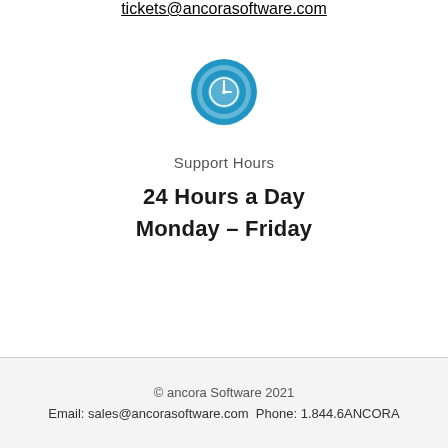tickets@ancorasoftware.com
[Figure (illustration): Blue circular clock icon with white clock face and hands]
Support Hours
24 Hours a Day
Monday – Friday
© ancora Software 2021
Email: sales@ancorasoftware.com Phone: 1.844.6ANCORA